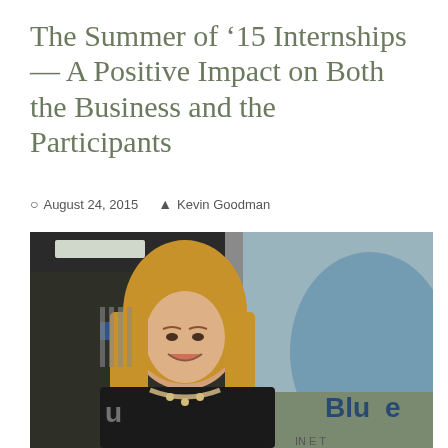The Summer of '15 Internships — A Positive Impact on Both the Business and the Participants
August 24, 2015   Kevin Goodman
[Figure (photo): A smiling blonde woman standing in front of glass office doors. The office interior is visible behind her with blue accent walls. Partial text 'Blue' is visible on the glass door.]